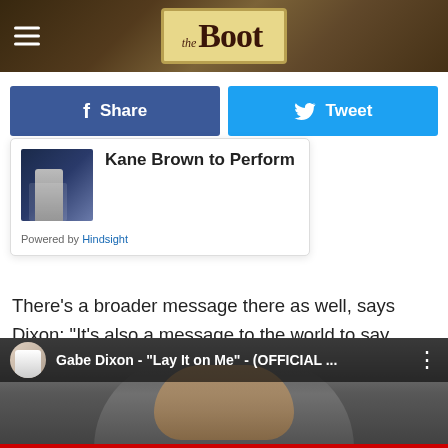[Figure (screenshot): The Boot website header with logo and hamburger menu]
f Share
Tweet
[Figure (screenshot): Promotional card with thumbnail image and text: Kane Brown to Perform. Powered by Hindsight.]
There's a broader message there as well, says Dixon: "It's also a message to the world to say, 'Keep your head up. We got this. You're not alone; we're in this together.'"
[Figure (screenshot): YouTube video thumbnail for Gabe Dixon - "Lay It on Me" - (OFFICIAL ...]